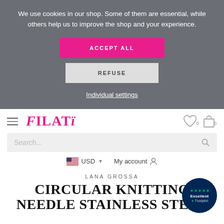We use cookies in our shop. Some of them are essential, while others help us to improve the shop and your experience.
ACCEPT ALL
REFUSE
Individual settings
[Figure (logo): Filati brand logo in pink italic serif font]
Search...
USD
My account
LANA GROSSA
CIRCULAR KNITTING NEEDLE STAINLESS STEEL
[Figure (logo): Trustpilot badge showing 5 stars and Excellent rating on dark blue circular background]